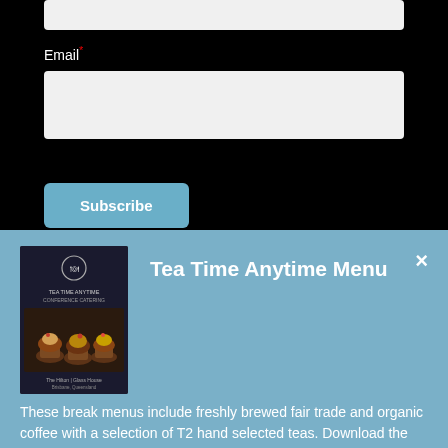[Figure (screenshot): Input box at top (partial, cut off) on black background]
Email*
[Figure (screenshot): Email input text field on black background]
Subscribe
Tea Time Anytime Menu
[Figure (photo): Book/menu cover showing cupcakes with the Tea Time Anytime Menu title]
These break menus include freshly brewed fair trade and organic coffee with a selection of T2 hand selected teas. Download the menu now.
Access now